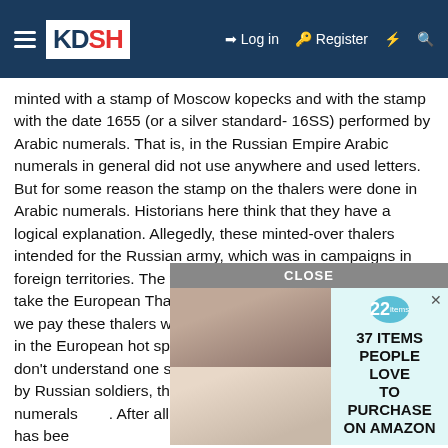KDSH | Log in | Register
minted with a stamp of Moscow kopecks and with the stamp with the date 1655 (or a silver standard- 16SS) performed by Arabic numerals. That is, in the Russian Empire Arabic numerals in general did not use anywhere and used letters. But for some reason the stamp on the thalers were done in Arabic numerals. Historians here think that they have a logical explanation. Allegedly, these minted-over thalers intended for the Russian army, which was in campaigns in foreign territories. The version is certainly a good one. We take the European Thaler we mint over the date 1655, and we pay these thalers wages to the Russian soldiers who are in the European hot spot. It all seems to make sense. I just don't understand one simple thing. If minted coins were used by Russian soldiers, then why the date was minted in Arabic numerals. After all, this date is certainly not for the European... n. He has been... Kirik of Novgoro... ter the Europea... d minted t... t these
[Figure (screenshot): Advertisement overlay showing 'CLOSE' bar, two product images (necklace and phone), and text '37 ITEMS PEOPLE LOVE TO PURCHASE ON AMAZON' with a teal badge showing '22']